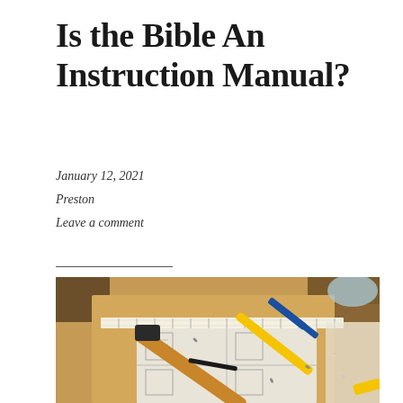Is the Bible An Instruction Manual?
January 12, 2021
Preston
Leave a comment
[Figure (photo): Overhead view of a flat-pack furniture instruction sheet laid on a cardboard surface, with a hammer, two screwdrivers with yellow and blue handles, and a measuring tape spread across it. Small nails/screws are scattered around. A yellow object and some hardware pieces are visible at the edges.]